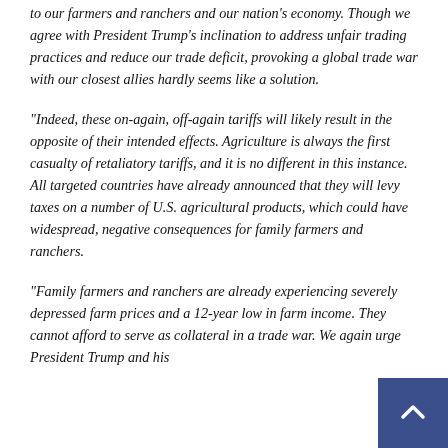to our farmers and ranchers and our nation's economy. Though we agree with President Trump's inclination to address unfair trading practices and reduce our trade deficit, provoking a global trade war with our closest allies hardly seems like a solution.
“Indeed, these on-again, off-again tariffs will likely result in the opposite of their intended effects. Agriculture is always the first casualty of retaliatory tariffs, and it is no different in this instance. All targeted countries have already announced that they will levy taxes on a number of U.S. agricultural products, which could have widespread, negative consequences for family farmers and ranchers.
“Family farmers and ranchers are already experiencing severely depressed farm prices and a 12-year low in farm income. They cannot afford to serve as collateral in a trade war. We again urge President Trump and his